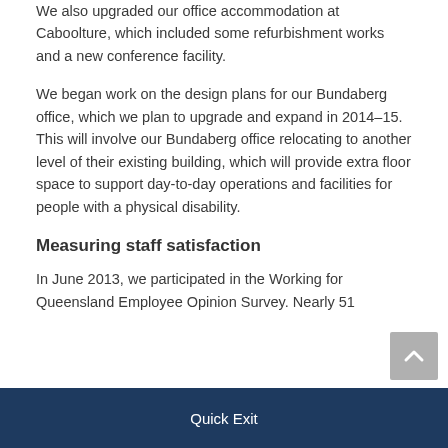We also upgraded our office accommodation at Caboolture, which included some refurbishment works and a new conference facility.
We began work on the design plans for our Bundaberg office, which we plan to upgrade and expand in 2014–15. This will involve our Bundaberg office relocating to another level of their existing building, which will provide extra floor space to support day-to-day operations and facilities for people with a physical disability.
Measuring staff satisfaction
In June 2013, we participated in the Working for Queensland Employee Opinion Survey. Nearly 51 percent of employees (337 employees) responded to
Quick Exit